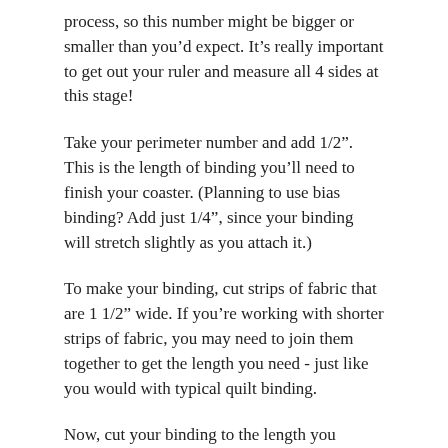process, so this number might be bigger or smaller than you'd expect. It's really important to get out your ruler and measure all 4 sides at this stage!
Take your perimeter number and add 1/2". This is the length of binding you'll need to finish your coaster. (Planning to use bias binding? Add just 1/4", since your binding will stretch slightly as you attach it.)
To make your binding, cut strips of fabric that are 1 1/2" wide. If you're working with shorter strips of fabric, you may need to join them together to get the length you need - just like you would with typical quilt binding.
Now, cut your binding to the length you calculated, starting and stopping with straight cuts.
Sew your binding ends together with a 1/4" seam, right sides